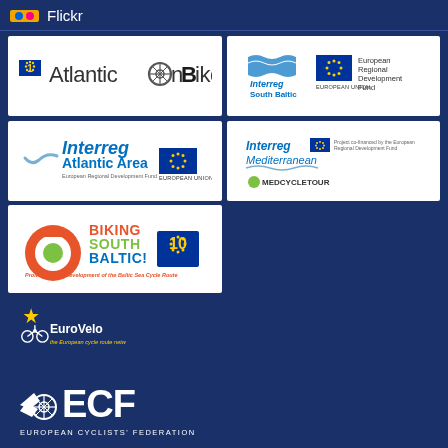Flickr
[Figure (logo): AtlanticOnBike logo with EU flag and bicycle wheel replacing the letter O]
[Figure (logo): Interreg South Baltic logo with EU flag and European Regional Development Fund text]
[Figure (logo): Interreg Atlantic Area logo with EU flag and European Regional Development Fund text]
[Figure (logo): Interreg Mediterranean MEDCYCLETOUR logo with EU flag and project co-financed text]
[Figure (logo): Biking South Baltic! logo with colorful ring graphic and EU 10 flag, Promotion and Development of the Baltic Sea Cycle Route]
[Figure (logo): EuroVelo - the European cycle route network logo on dark blue background]
[Figure (logo): ECF European Cyclists Federation logo in white on dark blue background]